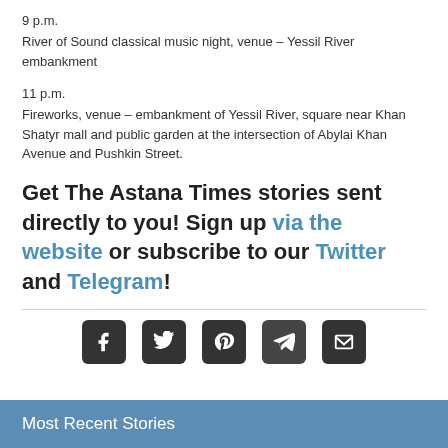9 p.m.
River of Sound classical music night, venue – Yessil River embankment
11 p.m.
Fireworks, venue – embankment of Yessil River, square near Khan Shatyr mall and public garden at the intersection of Abylai Khan Avenue and Pushkin Street.
Get The Astana Times stories sent directly to you! Sign up via the website or subscribe to our Twitter and Telegram!
[Figure (infographic): Row of five social media sharing icons: Facebook, Twitter, Pinterest, Telegram, Email]
Most Recent Stories